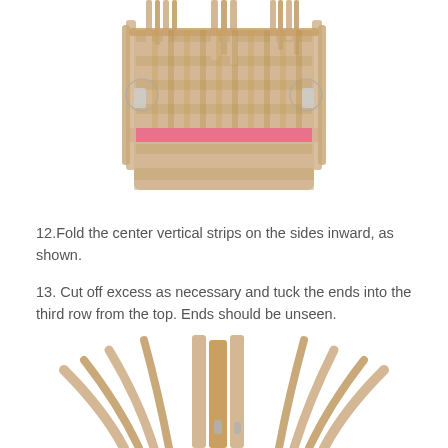[Figure (photo): A woven basket being assembled, showing the top view with vertical strips folded inward on the sides. Pink accent strips are woven through the basket, and metal clips hold the upright strips in place while working.]
12.Fold the center vertical strips on the sides inward, as shown.
13. Cut off excess as necessary and tuck the ends into the third row from the top. Ends should be unseen.
[Figure (photo): Close-up bottom view of a basket being assembled, showing multiple vertical strips of natural reed/rattan fanning outward, with some clips visible holding the construction together.]